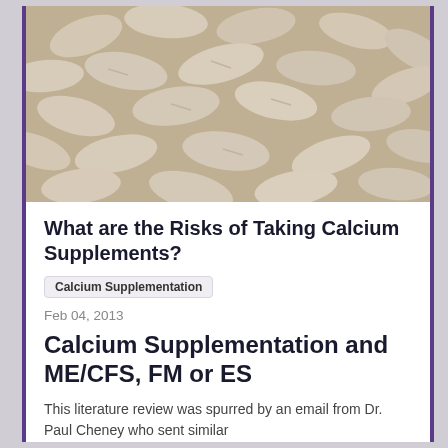[Figure (photo): Close-up photograph of a large pile of white/beige oval calcium supplement tablets/pills]
What are the Risks of Taking Calcium Supplements?
Calcium Supplementation
Feb 04, 2013
Calcium Supplementation and ME/CFS, FM or ES
This literature review was spurred by an email from Dr. Paul Cheney who sent similar